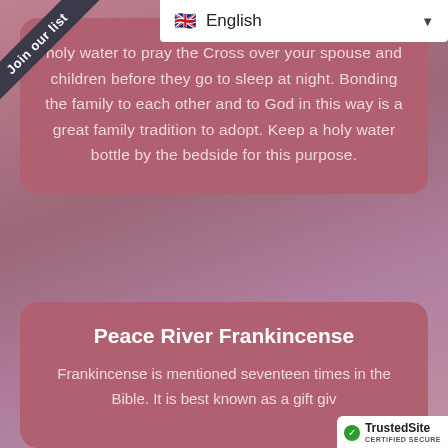[Figure (other): Corner banner ribbon with text 'Join our list' on dark background]
[Figure (screenshot): Language selector dropdown showing UK flag and 'English' with dropdown arrow]
holy water to pray the Cross over your spouse and children before they go to sleep at night. Bonding the family to each other and to God in this way is a great family tradition to adopt. Keep a holy water bottle by the bedside for this purpose.
Peace River Frankincense
Frankincense is mentioned seventeen times in the Bible. It is best known as a gift giv